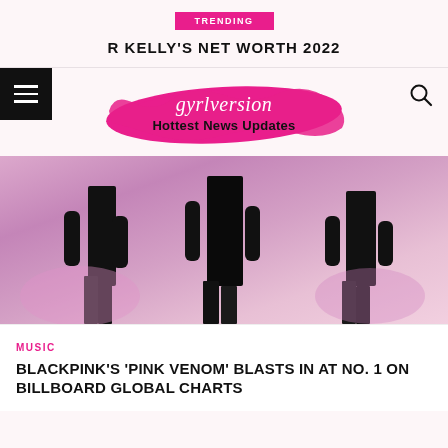TRENDING
R KELLY'S NET WORTH 2022
[Figure (logo): gyrlversion Hottest News Updates logo with pink brushstroke background]
[Figure (photo): BLACKPINK members in black outfits with black gloves on a pink/purple lit stage, lower body visible]
MUSIC
BLACKPINK'S 'PINK VENOM' BLASTS IN AT NO. 1 ON BILLBOARD GLOBAL CHARTS